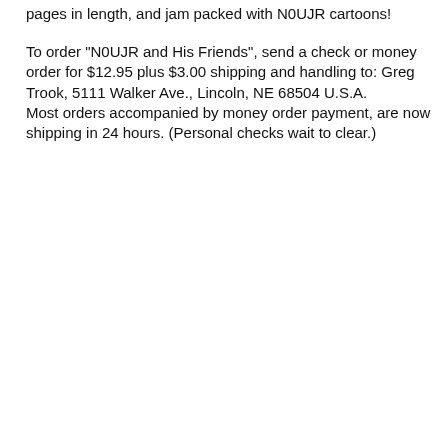pages in length, and jam packed with N0UJR cartoons!
To order "N0UJR and His Friends", send a check or money order for $12.95 plus $3.00 shipping and handling to: Greg Trook, 5111 Walker Ave., Lincoln, NE 68504 U.S.A.
Most orders accompanied by money order payment, are now shipping in 24 hours. (Personal checks wait to clear.)